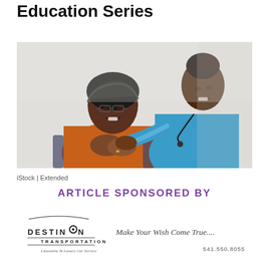Education Series
[Figure (photo): A nurse in blue scrubs leaning over an elderly woman in a wheelchair, both smiling warmly. The elderly woman wears an orange top and glasses with a dark head wrap. The nurse has a stethoscope around her neck.]
iStock | Extended
ARTICLE SPONSORED BY
[Figure (logo): Destination Transportation logo with tagline 'Limousine & Luxury Car Service' and contact info. Make Your Wish Come True.... 541.550.8055]